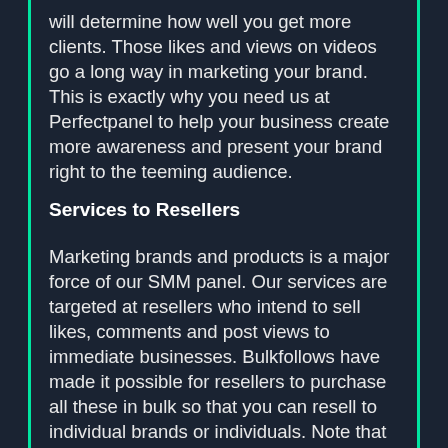will determine how well you get more clients. Those likes and views on videos go a long way in marketing your brand. This is exactly why you need us at Perfectpanel to help your business create more awareness and present your brand right to the teeming audience.
Services to Resellers
Marketing brands and products is a major force of our SMM panel. Our services are targeted at resellers who intend to sell likes, comments and post views to immediate businesses. Bulkfollows have made it possible for resellers to purchase all these in bulk so that you can resell to individual brands or individuals. Note that our SMM panel services do not scam. They have been tested and affirmed by various users to have provided an effective marketing strategy thereby yielding a wider customer base.
Bulkfollows also help you to run social media campaigns and sponsored posts such that your